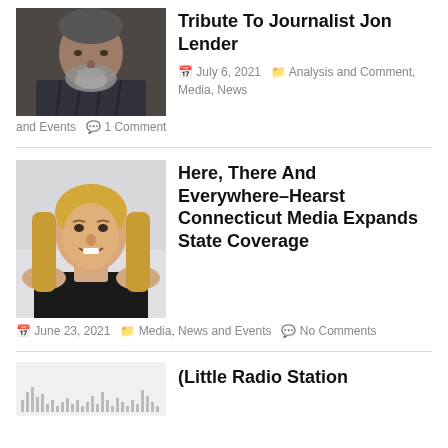[Figure (photo): Headshot of journalist Jon Lender, older man with gray beard wearing dark striped shirt]
Tribute To Journalist Jon Lender
July 6, 2021   Analysis and Comment, Media, News and Events   1 Comment
[Figure (photo): Headshot of a woman with long blond hair wearing a black top, smiling]
Here, There And Everywhere–Hearst Connecticut Media Expands State Coverage
June 23, 2021   Media, News and Events   No Comments
[Figure (other): Small thumbnail showing a bar/waveform chart graphic]
(Little Radio Station